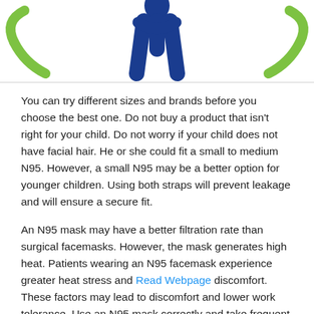[Figure (illustration): Illustration showing figures with green checkmarks and a blue person figure in the center, representing mask fitting guidance.]
You can try different sizes and brands before you choose the best one. Do not buy a product that isn't right for your child. Do not worry if your child does not have facial hair. He or she could fit a small to medium N95. However, a small N95 may be a better option for younger children. Using both straps will prevent leakage and will ensure a secure fit.
An N95 mask may have a better filtration rate than surgical facemasks. However, the mask generates high heat. Patients wearing an N95 facemask experience greater heat stress and Read Webpage discomfort. These factors may lead to discomfort and lower work tolerance. Use an N95 mask correctly and take frequent breaks. It should only be worn by one person at a given time.
A stamp can be used to confirm the authenticity of N95-marked